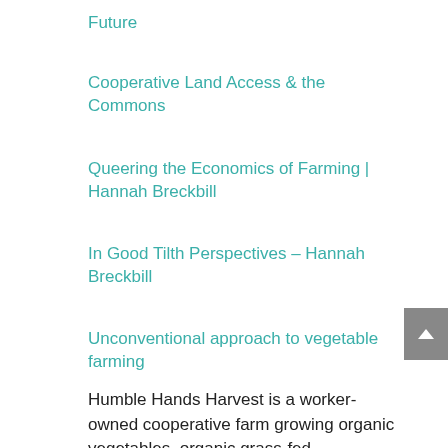Future
Cooperative Land Access & the Commons
Queering the Economics of Farming | Hannah Breckbill
In Good Tilth Perspectives – Hannah Breckbill
Unconventional approach to vegetable farming
Humble Hands Harvest is a worker-owned cooperative farm growing organic vegetables, organic grass-fed